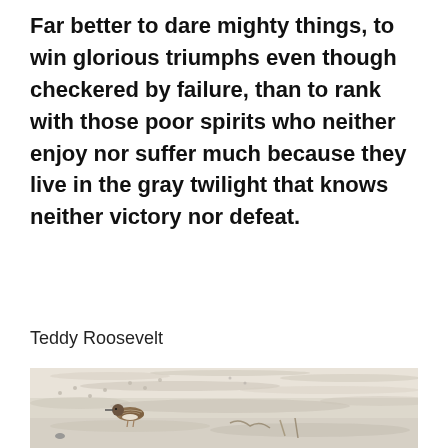Far better to dare mighty things, to win glorious triumphs even though checkered by failure, than to rank with those poor spirits who neither enjoy nor suffer much because they live in the gray twilight that knows neither victory nor defeat.
Teddy Roosevelt
[Figure (photo): A small sandpiper bird standing on white sandy beach, with footprints and sand ripples visible in the background. The bird has brown and white plumage.]